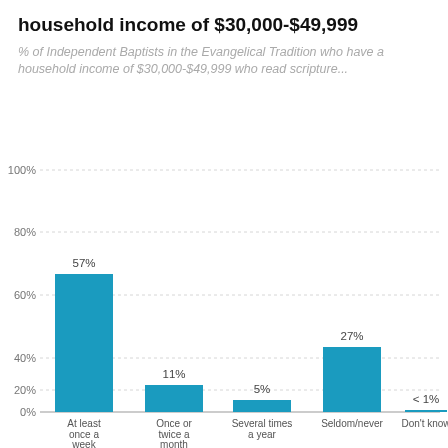household income of $30,000-$49,999
% of Independent Baptists in the Evangelical Tradition who have a household income of $30,000-$49,999 who read scripture...
[Figure (bar-chart): household income of $30,000-$49,999]